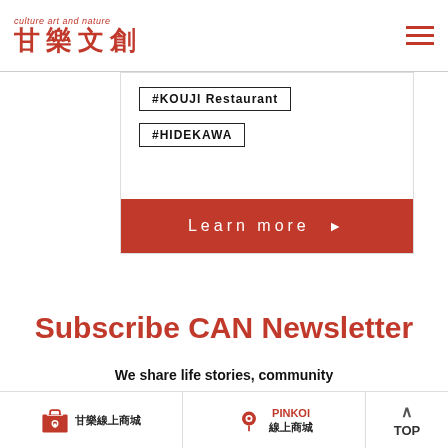culture art and nature 甘樂文創
#KOUJI Restaurant
#HIDEKAWA
Learn more ▶
Subscribe CAN Newsletter
We share life stories, community activities, and information on special offers with every friend … address below to
甘樂線上商城 | PINKOI 線上商城 | TOP